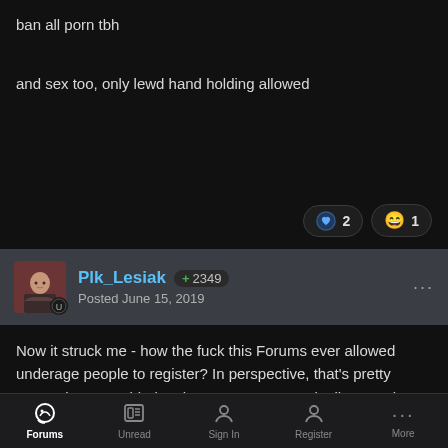ban all porn tbh
and sex too, only lewd hand holding allowed
Plk_Lesiak  +2349
Posted June 15, 2019
Now it struck me - how the fuck this Forums ever allowed underage people to register? In perspective, that's pretty messed up, considering the content commonly discussed around here.
Anyways, I understand and respect your desition and your stance on these matters. I think I personally just grew so cynical that I don't care anymore - I stopped believing it's my fight to call out all
Forums  Unread  Sign In  Register  More